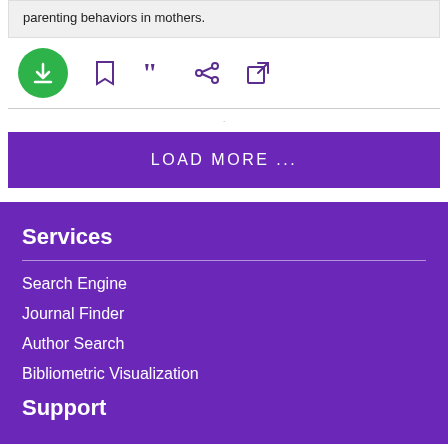parenting behaviors in mothers.
[Figure (screenshot): Action bar with download (green circle), bookmark, quote, share, and external link icons in purple]
LOAD MORE ...
Services
Search Engine
Journal Finder
Author Search
Bibliometric Visualization
Support